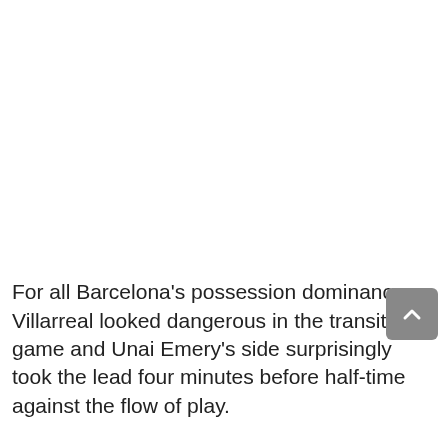For all Barcelona's possession dominance, Villarreal looked dangerous in the transition game and Unai Emery's side surprisingly took the lead four minutes before half-time against the flow of play.